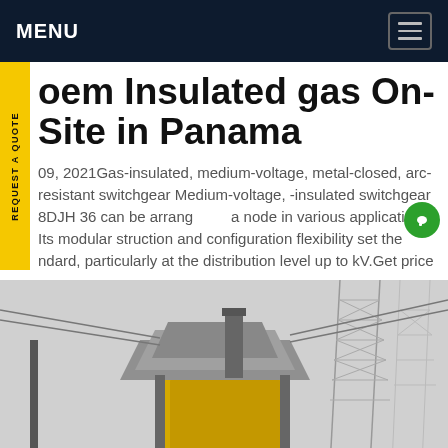MENU
oem Insulated gas On-Site in Panama
09, 2021Gas-insulated, medium-voltage, metal-closed, arc-resistant switchgear Medium-voltage, -insulated switchgear 8DJH 36 can be arranged a node in various applications. Its modular struction and configuration flexibility set the ndard, particularly at the distribution level up to kV.Get price
[Figure (photo): Industrial electrical switchgear or transformer equipment on-site, with metal structures and transmission towers visible in the background]